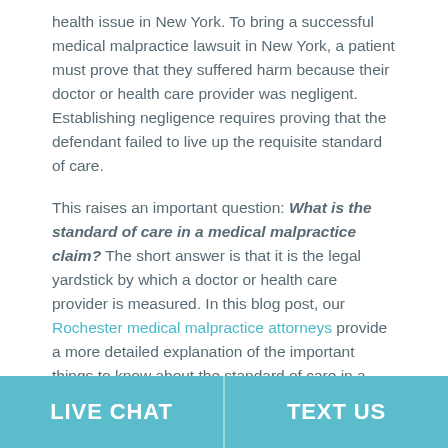health issue in New York. To bring a successful medical malpractice lawsuit in New York, a patient must prove that they suffered harm because their doctor or health care provider was negligent. Establishing negligence requires proving that the defendant failed to live up the requisite standard of care.
This raises an important question: What is the standard of care in a medical malpractice claim? The short answer is that it is the legal yardstick by which a doctor or health care provider is measured. In this blog post, our Rochester medical malpractice attorneys provide a more detailed explanation of the important things to know about the standard of care in a medical malpractice claim in New York.
LIVE CHAT | TEXT US